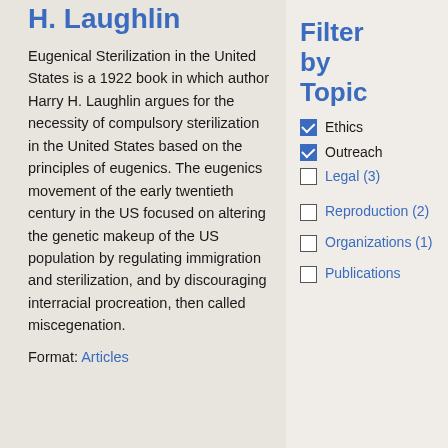H. Laughlin
Eugenical Sterilization in the United States is a 1922 book in which author Harry H. Laughlin argues for the necessity of compulsory sterilization in the United States based on the principles of eugenics. The eugenics movement of the early twentieth century in the US focused on altering the genetic makeup of the US population by regulating immigration and sterilization, and by discouraging interracial procreation, then called miscegenation.
Format: Articles
Filter by Topic
Ethics (checked)
Outreach (checked)
Legal (3)
Reproduction (2)
Organizations (1)
Publications